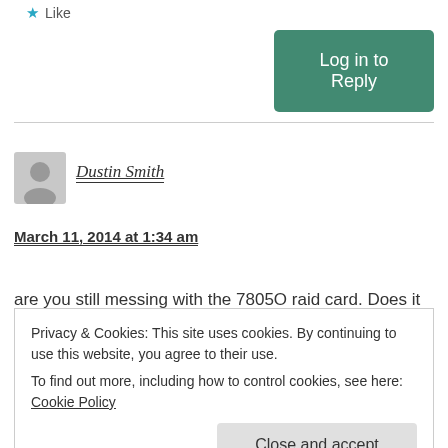★ Like
Log in to Reply
Dustin Smith
March 11, 2014 at 1:34 am
are you still messing with the 7805O raid card. Does it do
Privacy & Cookies: This site uses cookies. By continuing to use this website, you agree to their use.
To find out more, including how to control cookies, see here: Cookie Policy
Close and accept
Log in to Reply